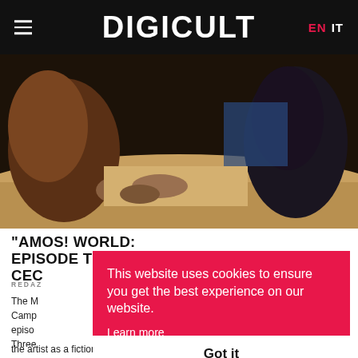DIGICULT | EN IT
[Figure (photo): Close-up photo of people leaning over a table/surface, working with their hands on materials, dark ambient lighting]
"AMOS! WORLD: EPISODE THREE" BY CEC…
REDAZ…
The M… Camp… episo… Three… exhib… the artist as a fictional TV series, will be presented in a setting
This website uses cookies to ensure you get the best experience on our website. Learn more
Got it